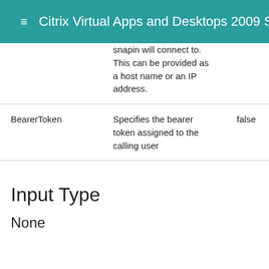Citrix Virtual Apps and Desktops 2009 SDK D
| Name | Description | Required |
| --- | --- | --- |
|  | snapin will connect to. This can be provided as a host name or an IP address. |  |
| BearerToken | Specifies the bearer token assigned to the calling user | false |
Input Type
None